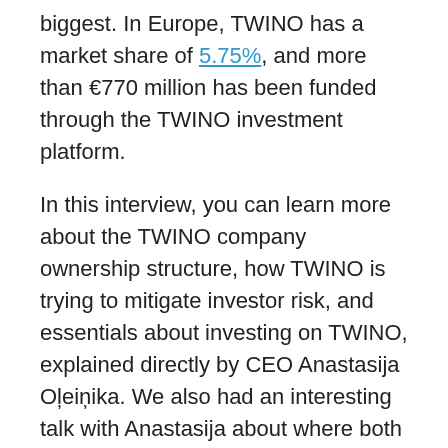biggest. In Europe, TWINO has a market share of 5.75%, and more than €770 million has been funded through the TWINO investment platform.

In this interview, you can learn more about the TWINO company ownership structure, how TWINO is trying to mitigate investor risk, and essentials about investing on TWINO, explained directly by CEO Anastasija Oļeiņika. We also had an interesting talk with Anastasija about where both TWINO and the marketplace lending industry are heading – and without spoiling too much, I think it is safe to say that more and better regulation is the way to go.

You can learn more about Twino on the Twino Information Page or by visiting the platform